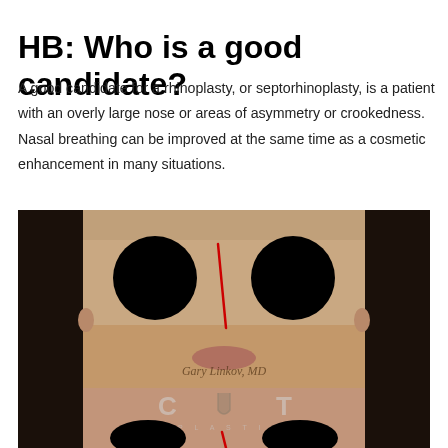HB: Who is a good candidate?
A good candidate for a rhinoplasty, or septorhinoplasty, is a patient with an overly large nose or areas of asymmetry or crookedness. Nasal breathing can be improved at the same time as a cosmetic enhancement in many situations.
[Figure (photo): Frontal face photograph of a female patient showing a crooked nose with a red line drawn along the nasal axis to illustrate asymmetry. Eyes are blacked out for privacy. Watermark reads 'Gary Linkov, MD'. Below is a partial second photo with a logo reading 'CITY PLASTIC' overlaid.]